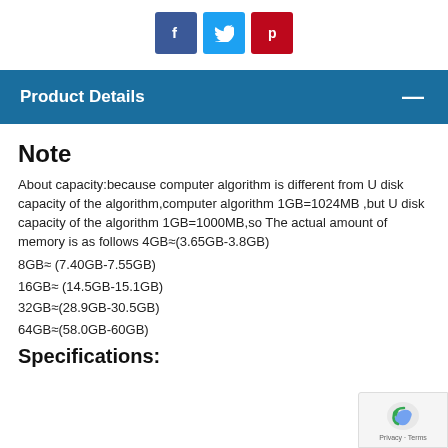[Figure (other): Social sharing buttons: Facebook (blue), Twitter (light blue), Pinterest (red)]
Product Details
Note
About capacity:because computer algorithm is different from U disk capacity of the algorithm,computer algorithm 1GB=1024MB ,but U disk capacity of the algorithm 1GB=1000MB,so The actual amount of memory is as follows 4GB≈(3.65GB-3.8GB)
8GB≈ (7.40GB-7.55GB)
16GB≈ (14.5GB-15.1GB)
32GB≈(28.9GB-30.5GB)
64GB≈(58.0GB-60GB)
Specifications: